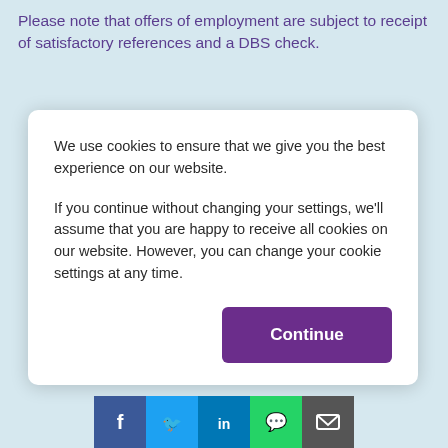Please note that offers of employment are subject to receipt of satisfactory references and a DBS check.
We use cookies to ensure that we give you the best experience on our website.
If you continue without changing your settings, we'll assume that you are happy to receive all cookies on our website. However, you can change your cookie settings at any time.
Continue
[Figure (other): Social media share icons: Facebook, Twitter, LinkedIn, WhatsApp, Email]